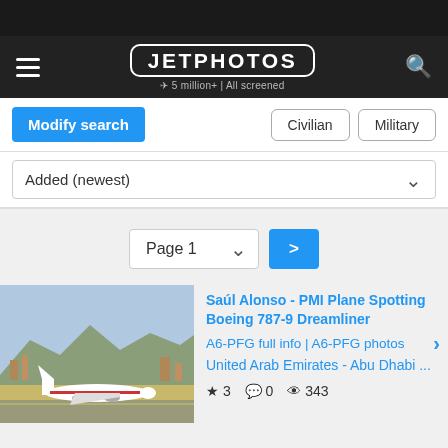JETPHOTOS — 5 million+ | All screened
Modify search | Civilian | Military
Added (newest)
Page 1 >
[Figure (photo): Boeing 787-9 Dreamliner aircraft on airport tarmac with mountains in background]
Saúl Alonso - PMI Plane Spotting
Boeing 787-9 Dreamliner
A6-PFG full info | A6-PFG photos
United Arab Emirates - Abu Dhabi ...
★ 3  💬 0  👁 343